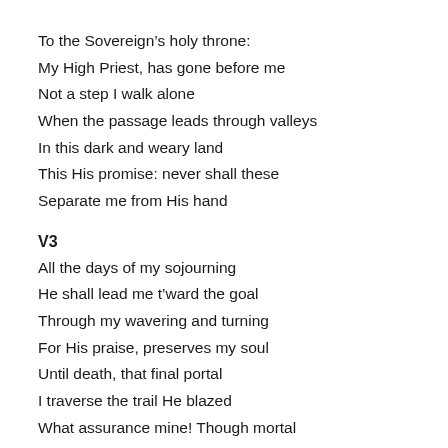To the Sovereign’s holy throne:
My High Priest, has gone before me
Not a step I walk alone
When the passage leads through valleys
In this dark and weary land
This His promise: never shall these
Separate me from His hand
V3
All the days of my sojourning
He shall lead me t’ward the goal
Through my wavering and turning
For His praise, preserves my soul
Until death, that final portal
I traverse the trail He blazed
What assurance mine! Though mortal
Unto life I shall be raised